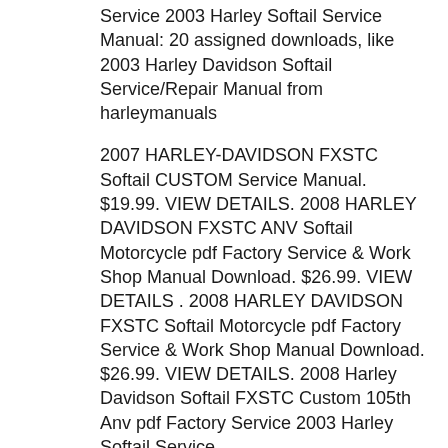Service 2003 Harley Softail Service Manual: 20 assigned downloads, like 2003 Harley Davidson Softail Service/Repair Manual from harleymanuals
2007 HARLEY-DAVIDSON FXSTC Softail CUSTOM Service Manual. $19.99. VIEW DETAILS. 2008 HARLEY DAVIDSON FXSTC ANV Softail Motorcycle pdf Factory Service & Work Shop Manual Download. $26.99. VIEW DETAILS . 2008 HARLEY DAVIDSON FXSTC Softail Motorcycle pdf Factory Service & Work Shop Manual Download. $26.99. VIEW DETAILS. 2008 Harley Davidson Softail FXSTC Custom 105th Anv pdf Factory Service 2003 Harley Softail Service